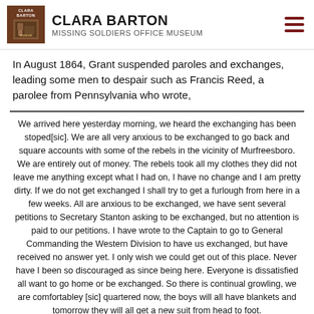CLARA BARTON
MISSING SOLDIERS OFFICE MUSEUM
In August 1864, Grant suspended paroles and exchanges, leading some men to despair such as Francis Reed, a parolee from Pennsylvania who wrote,
We arrived here yesterday morning, we heard the exchanging has been stoped[sic]. We are all very anxious to be exchanged to go back and square accounts with some of the rebels in the vicinity of Murfreesboro. We are entirely out of money. The rebels took all my clothes they did not leave me anything except what I had on, I have no change and I am pretty dirty. If we do not get exchanged I shall try to get a furlough from here in a few weeks. All are anxious to be exchanged, we have sent several petitions to Secretary Stanton asking to be exchanged, but no attention is paid to our petitions. I have wrote to the Captain to go to General Commanding the Western Division to have us exchanged, but have received no answer yet. I only wish we could get out of this place. Never have I been so discouraged as since being here. Everyone is dissatisfied all want to go home or be exchanged. So there is continual growling, we are comfortabley [sic] quartered now, the boys will all have blankets and tomorrow they will all get a new suit from head to foot.